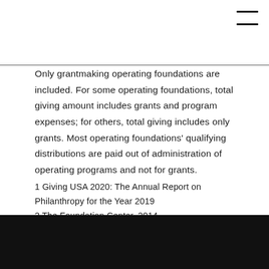Only grantmaking operating foundations are included. For some operating foundations, total giving amount includes grants and program expenses; for others, total giving includes only grants. Most operating foundations' qualifying distributions are paid out of administration of operating programs and not for grants.
1 Giving USA 2020: The Annual Report on Philanthropy for the Year 2019
2 The Foundation Center, 2014